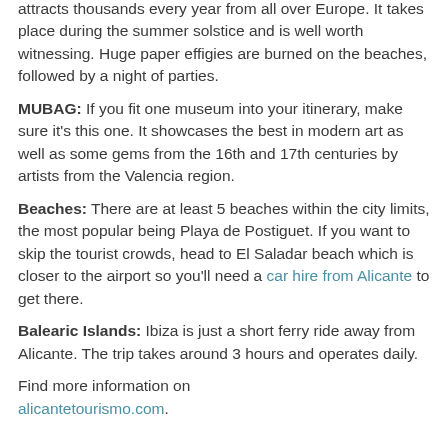attracts thousands every year from all over Europe. It takes place during the summer solstice and is well worth witnessing. Huge paper effigies are burned on the beaches, followed by a night of parties.
MUBAG: If you fit one museum into your itinerary, make sure it's this one. It showcases the best in modern art as well as some gems from the 16th and 17th centuries by artists from the Valencia region.
Beaches: There are at least 5 beaches within the city limits, the most popular being Playa de Postiguet. If you want to skip the tourist crowds, head to El Saladar beach which is closer to the airport so you'll need a car hire from Alicante to get there.
Balearic Islands: Ibiza is just a short ferry ride away from Alicante. The trip takes around 3 hours and operates daily.
Find more information on alicantetourismo.com.